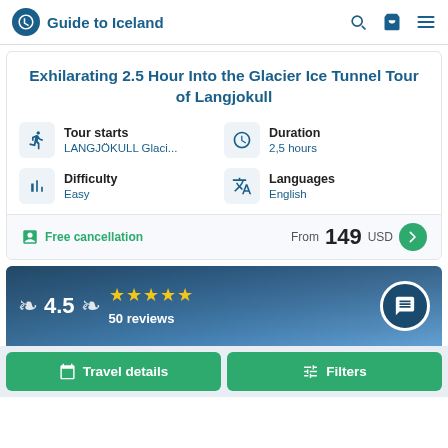Guide to Iceland
Exhilarating 2.5 Hour Into the Glacier Ice Tunnel Tour of Langjokull
Tour starts: LANGJÖKULL Glaci...
Duration: 2,5 hours
Difficulty: Easy
Languages: English
Free cancellation
From 149 USD
4.5 — 50 reviews
Travel details
Filters